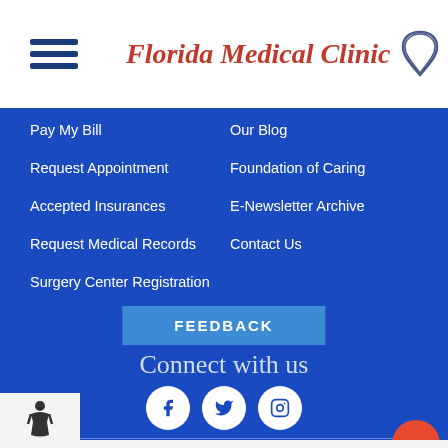[Figure (logo): Florida Medical Clinic logo with hamburger menu icon and Florida state outline]
Pay My Bill
Our Blog
Request Appointment
Foundation of Caring
Accepted Insurances
E-Newsletter Archive
Request Medical Records
Contact Us
Surgery Center Registration
FEEDBACK
Connect with us
[Figure (illustration): Social media icons: Facebook, Twitter, Instagram in white circles]
General CAA Compliance
Direct Messaging
[Figure (illustration): Accessibility wheelchair icon at bottom left]